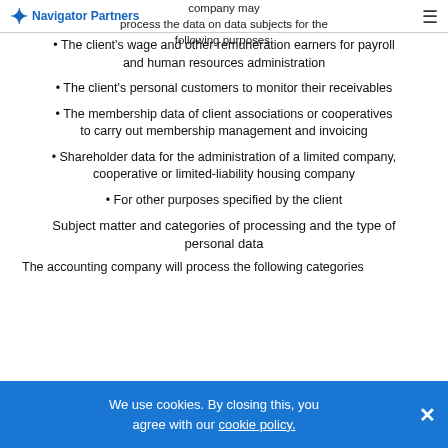Navigator Partners | Subject to the mandate, the accounting company may process the data on data subjects for the following purposes:
The client's wage and other remuneration earners for payroll and human resources administration
The client's personal customers to monitor their receivables
The membership data of client associations or cooperatives to carry out membership management and invoicing
Shareholder data for the administration of a limited company, cooperative or limited-liability housing company
For other purposes specified by the client
Subject matter and categories of processing and the type of personal data
The accounting company will process the following categories
We use cookies. By closing this, you agree with our cookie policy.